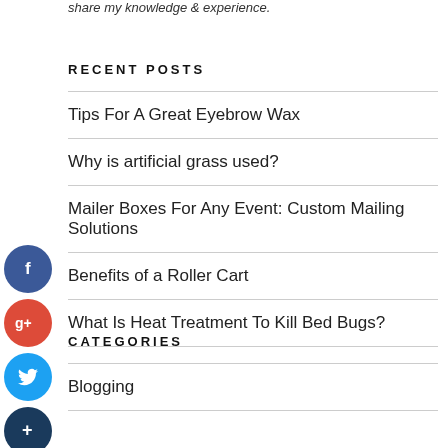share my knowledge & experience.
RECENT POSTS
Tips For A Great Eyebrow Wax
Why is artificial grass used?
Mailer Boxes For Any Event: Custom Mailing Solutions
Benefits of a Roller Cart
What Is Heat Treatment To Kill Bed Bugs?
CATEGORIES
Blogging